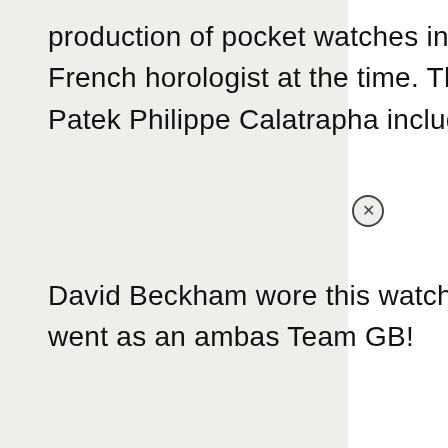production of pocket watches inspired by Breguet, a famous French horologist at the time. The celebrities who own a Patek Philippe Calatrapha include…
David Beckham wore this watch to the Olympics, where he went as an ambassador for Team GB!
9. The Swatch Watch
This fashion watch is part of this collection for its affordability. The 1980s was when Swatch watches were in high demand, and before it became famous, numerous other fashion watches emerged due to their affordability.